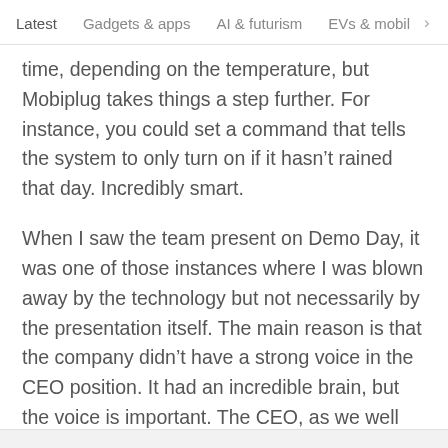Latest   Gadgets & apps   AI & futurism   EVs & mobil  >
time, depending on the temperature, but Mobiplug takes things a step further. For instance, you could set a command that tells the system to only turn on if it hasn't rained that day. Incredibly smart.
When I saw the team present on Demo Day, it was one of those instances where I was blown away by the technology but not necessarily by the presentation itself. The main reason is that the company didn't have a strong voice in the CEO position. It had an incredible brain, but the voice is important. The CEO, as we well know, is the salesperson of the company.